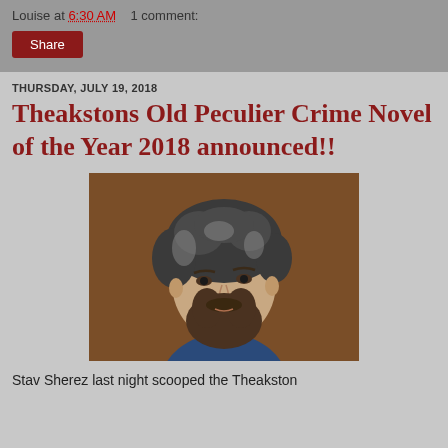Louise at 6:30 AM   1 comment:
Share
THURSDAY, JULY 19, 2018
Theakstons Old Peculier Crime Novel of the Year 2018 announced!!
[Figure (photo): Portrait photo of a man with curly grey-black hair and a beard, wearing a blue shirt, photographed against a warm brown background.]
Stav Sherez last night scooped the Theakston